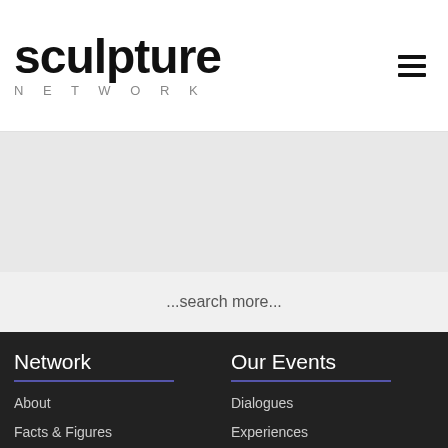[Figure (logo): Sculpture Network logo — large stylized 'sculpture' text with 'NETWORK' beneath in spaced caps]
...search more...
Network
About
Facts & Figures
Bylaws
Press
Jobs
Board
Team
Our Events
Dialogues
Experiences
The Online Club
International Forum
Lab
start
Art - People - Life